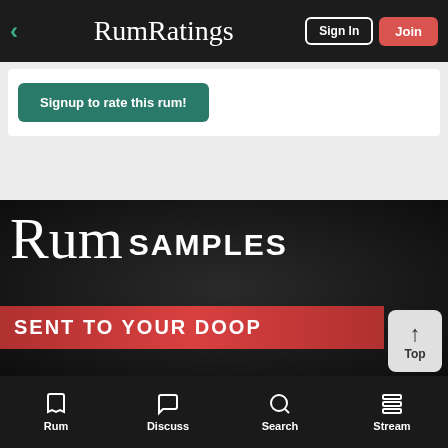RumRatings — Sign In | Join
Signup to rate this rum!
[Figure (photo): Advertisement banner showing 'Rum SAMPLES SENT TO YOUR DOOR' text on dark background with red banner]
Go Premium: Ad-Free, Prices, Dark Mode, +More
Rum | Discuss | Search | Stream